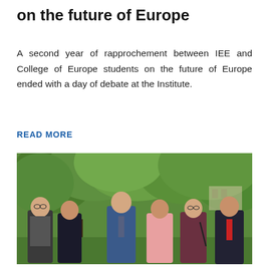on the future of Europe
A second year of rapprochement between IEE and College of Europe students on the future of Europe ended with a day of debate at the Institute.
READ MORE
[Figure (photo): Group photo of six academics and professionals standing outdoors in front of lush green trees. Three men and three women standing in a row, dressed in business attire.]